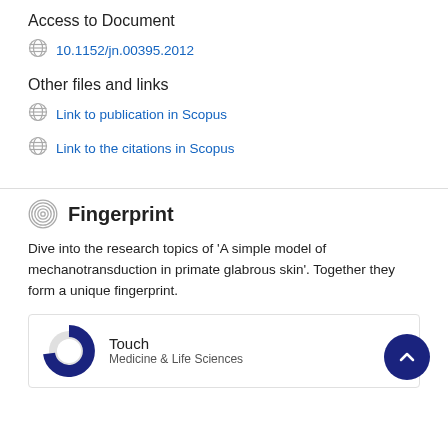Access to Document
10.1152/jn.00395.2012
Other files and links
Link to publication in Scopus
Link to the citations in Scopus
Fingerprint
Dive into the research topics of 'A simple model of mechanotransduction in primate glabrous skin'. Together they form a unique fingerprint.
Touch
Medicine & Life Sciences